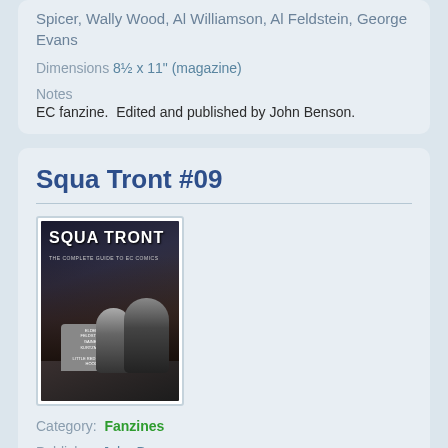Spicer, Wally Wood, Al Williamson, Al Feldstein, George Evans
Dimensions  8½ x 11" (magazine)
Notes
EC fanzine.  Edited and published by John Benson.
Squa Tront #09
[Figure (photo): Cover of Squa Tront magazine showing gothic figures near a gravestone with text SQUA TRONT THE COMPLETE GUIDE TO EC COMICS]
Category:  Fanzines
Publisher  John Benson
Country  USA
Year  1983